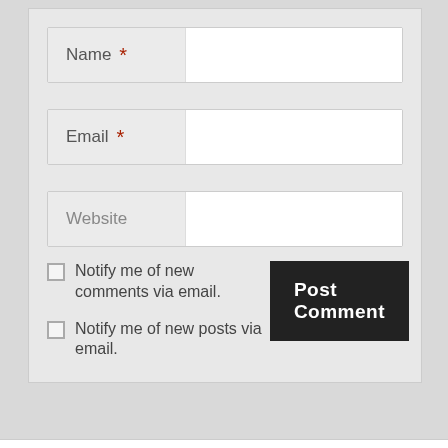Name *
Email *
Website
Notify me of new comments via email.
Post Comment
Notify me of new posts via email.